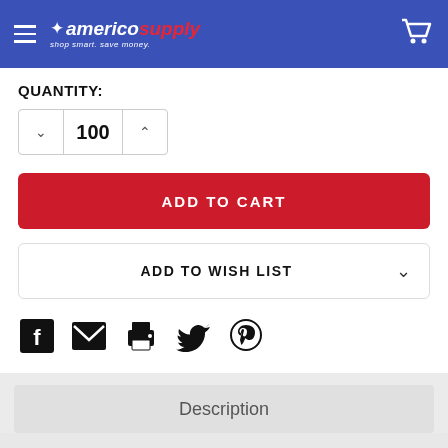americosupply - shop smart. save money.
QUANTITY:
100
ADD TO CART
ADD TO WISH LIST
[Figure (screenshot): Social sharing icons: Facebook, Email, Print, Twitter, Pinterest]
Description